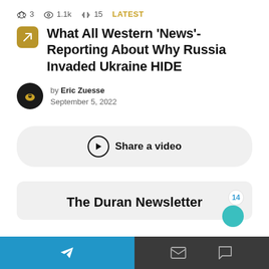3  1.1k  15  LATEST
What All Western ‘News’-Reporting About Why Russia Invaded Ukraine HIDE
by Eric Zuesse
September 5, 2022
Share a video
The Duran Newsletter
navigation bar with telegram, email, and chat icons